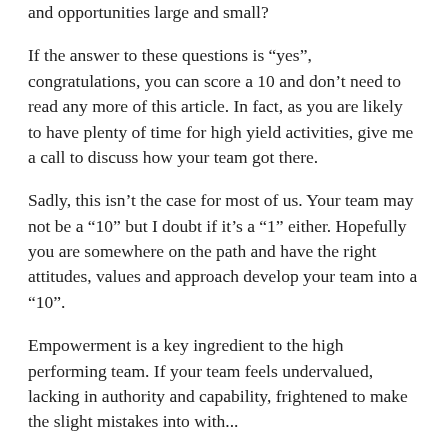and opportunities large and small?
If the answer to these questions is “yes”, congratulations, you can score a 10 and don’t need to read any more of this article. In fact, as you are likely to have plenty of time for high yield activities, give me a call to discuss how your team got there.
Sadly, this isn’t the case for most of us. Your team may not be a “10” but I doubt if it’s a “1” either. Hopefully you are somewhere on the path and have the right attitudes, values and approach develop your team into a “10”.
Empowerment is a key ingredient to the high performing team. If your team feels undervalued, lacking in authority and capability, frightened to make the slight mistakes into which will help them hitting their high